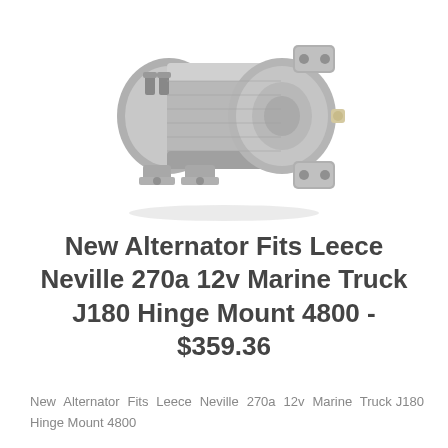[Figure (photo): Photo of a gray alternator unit (Leece Neville 270a 12v Marine Truck J180 Hinge Mount 4800) shown at a slight angle, cylindrical body with mounting flanges and electrical terminals.]
New Alternator Fits Leece Neville 270a 12v Marine Truck J180 Hinge Mount 4800 - $359.36
New Alternator Fits Leece Neville 270a 12v Marine Truck J180 Hinge Mount 4800